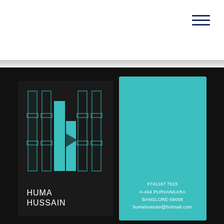[Figure (logo): Hamburger menu icon (three horizontal navy lines) in top-right corner of white header area]
[Figure (illustration): Two business cards shown side by side on a dark background. Left card is dark/black with a teal geometric 'H' logo made of 3D panel shapes and the name 'HUMA HUSSAIN' in white at the bottom. Right card is solid teal with contact information: #741167 7615, A-404 PURVANKARA, BANGLORE-56008, humahussain@hotmail.com]